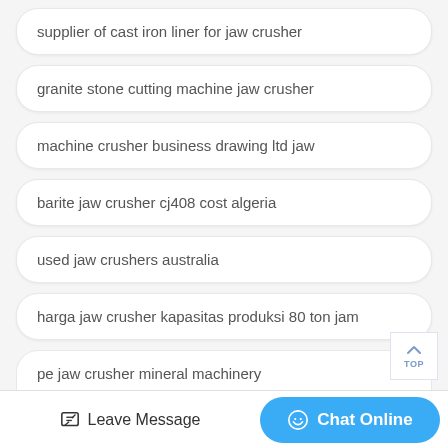supplier of cast iron liner for jaw crusher
granite stone cutting machine jaw crusher
machine crusher business drawing ltd jaw
barite jaw crusher cj408 cost algeria
used jaw crushers australia
harga jaw crusher kapasitas produksi 80 ton jam
pe jaw crusher mineral machinery
Leave Message
Chat Online